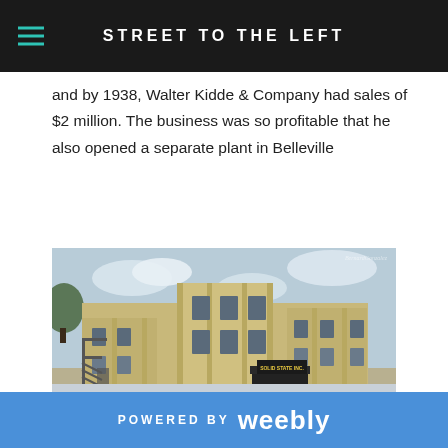STREET TO THE LEFT
and by 1938, Walter Kidde & Company had sales of $2 million. The business was so profitable that he also opened a separate plant in Belleville
[Figure (photo): Photograph of a large industrial/commercial building, multi-story beige/tan colored structure with Art Deco styling, sign reading 'SOLID STATE INC.' visible, exterior staircase on left side, parking area in front]
[Figure (photo): Partial view of another photograph, mostly cropped, showing top edge of what appears to be another building or structure]
POWERED BY weebly